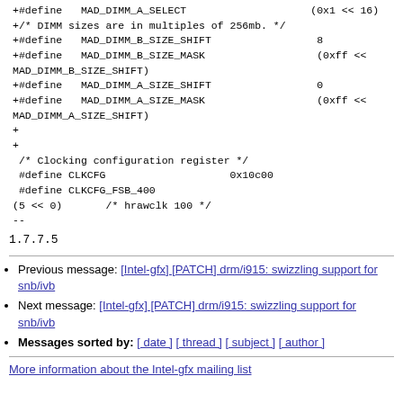+#define   MAD_DIMM_A_SELECT                    (0x1 << 16)
+/* DIMM sizes are in multiples of 256mb. */
+#define   MAD_DIMM_B_SIZE_SHIFT                 8
+#define   MAD_DIMM_B_SIZE_MASK                  (0xff <<
MAD_DIMM_B_SIZE_SHIFT)
+#define   MAD_DIMM_A_SIZE_SHIFT                 0
+#define   MAD_DIMM_A_SIZE_MASK                  (0xff <<
MAD_DIMM_A_SIZE_SHIFT)
+
+
 /* Clocking configuration register */
 #define CLKCFG                    0x10c00
 #define CLKCFG_FSB_400
(5 << 0)       /* hrawclk 100 */
--
1.7.7.5
Previous message: [Intel-gfx] [PATCH] drm/i915: swizzling support for snb/ivb
Next message: [Intel-gfx] [PATCH] drm/i915: swizzling support for snb/ivb
Messages sorted by: [ date ] [ thread ] [ subject ] [ author ]
More information about the Intel-gfx mailing list